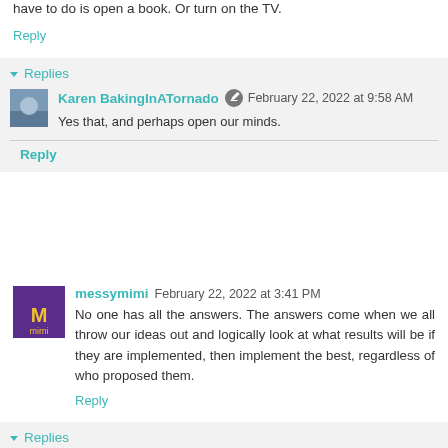have to do is open a book. Or turn on the TV.
Reply
Replies
Karen BakingInATornado  February 22, 2022 at 9:58 AM
Yes that, and perhaps open our minds.
Reply
messymimi  February 22, 2022 at 3:41 PM
No one has all the answers. The answers come when we all throw our ideas out and logically look at what results will be if they are implemented, then implement the best, regardless of who proposed them.
Reply
Replies